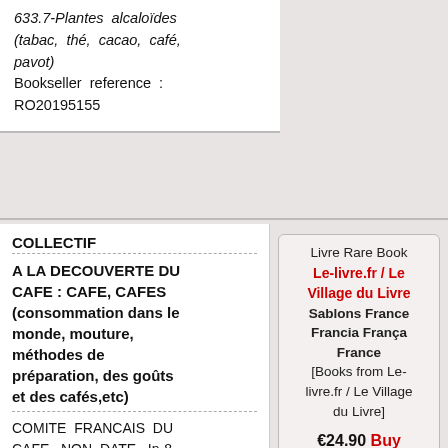633.7-Plantes alcaloïdes (tabac, thé, cacao, café, pavot) Bookseller reference : RO20195155
COLLECTIF
A LA DECOUVERTE DU CAFE : CAFE, CAFES (consommation dans le monde, mouture, méthodes de préparation, des goûts et des cafés,etc)
COMITE FRANCAIS DU CAFE. NON DATE. In-8. Broché. Bon état, Couv. défraîchie, Dos satisfaisant, Intérieur frais. 31 pages. Quelques photos et 1 carte en couleurs, dans et hors texte.. . . . Classification Dewey : 633.7-Plantes alcaloïdes (tabac, thé, cacao, café, pavot)
Livre Rare Book Le-livre.fr / Le Village du Livre Sablons France Francia França France [Books from Le-livre.fr / Le Village du Livre] €24.90 Buy